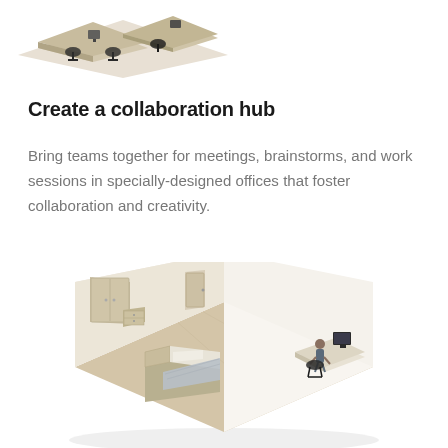[Figure (illustration): Isometric 3D rendering of an office workspace with desks and chairs, viewed from above at an angle, partially cropped at the top of the page.]
Create a collaboration hub
Bring teams together for meetings, brainstorms, and work sessions in specially-designed offices that foster collaboration and creativity.
[Figure (illustration): Isometric 3D rendering of a room interior with a bed, desk with a person sitting at a computer, wardrobe/cabinet, and a door, with wood-patterned flooring and beige walls.]